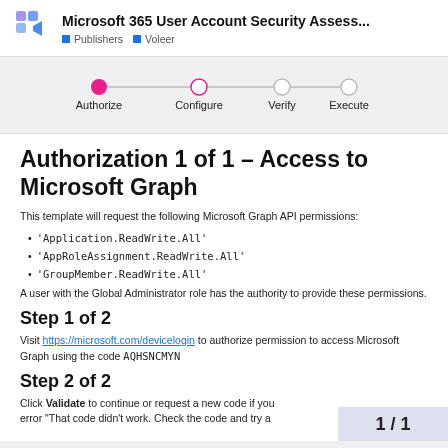Microsoft 365 User Account Security Assess... | Publishers | Voleer
[Figure (infographic): 4-step progress stepper showing: Authorize (filled pink circle, active), Configure (empty circle), Verify (empty circle), Execute (empty circle) connected by a horizontal line]
Authorization 1 of 1 – Access to Microsoft Graph
This template will request the following Microsoft Graph API permissions:
'Application.ReadWrite.All'
'AppRoleAssignment.ReadWrite.All'
'GroupMember.ReadWrite.All'
A user with the Global Administrator role has the authority to provide these permissions.
Step 1 of 2
Visit https://microsoft.com/devicelogin to authorize permission to access Microsoft Graph using the code AQHSNCMYN
Step 2 of 2
Click Validate to continue or request a new code if you get the error "That code didn't work. Check the code and try a
1 / 1